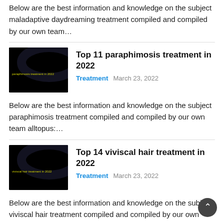Below are the best information and knowledge on the subject maladaptive daydreaming treatment compiled and compiled by our own team…
[Figure (photo): Dark thumbnail image for paraphimosis treatment article]
Top 11 paraphimosis treatment in 2022
Treatment   March 23, 2022
Below are the best information and knowledge on the subject paraphimosis treatment compiled and compiled by our own team alltopus:…
[Figure (photo): Dark thumbnail image for viviscal hair treatment article]
Top 14 viviscal hair treatment in 2022
Treatment   March 23, 2022
Below are the best information and knowledge on the subject viviscal hair treatment compiled and compiled by our own